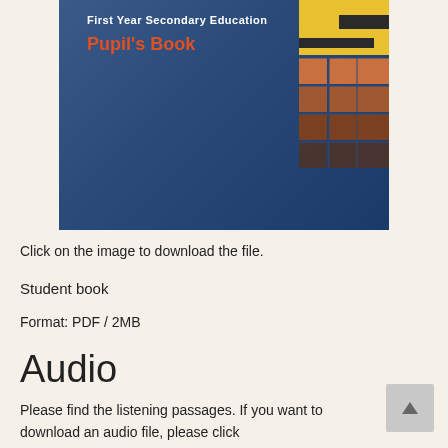[Figure (photo): Book cover for 'Pupil's Book' for First Year Secondary Education, with a dark blue background and a geometric yellow and orange graphic design in the top-right corner.]
Click on the image to download the file.
Student book
Format: PDF / 2MB
Audio
Please find the listening passages. If you want to download an audio file, please click